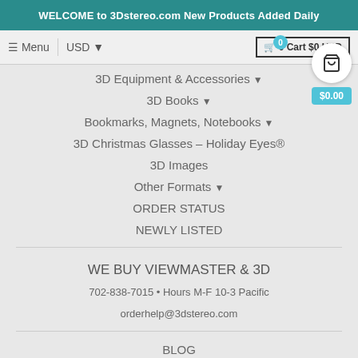WELCOME to 3Dstereo.com New Products Added Daily
≡ Menu | USD ▼ | 🛒 0 Cart $0 USD
3D Equipment & Accessories ▾
3D Books ▾
Bookmarks, Magnets, Notebooks ▾
3D Christmas Glasses – Holiday Eyes®
3D Images
Other Formats ▾
ORDER STATUS
NEWLY LISTED
WE BUY VIEWMASTER & 3D
702-838-7015 • Hours M-F 10-3 Pacific
orderhelp@3dstereo.com
BLOG